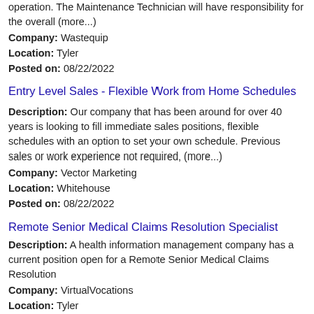operation. The Maintenance Technician will have responsibility for the overall (more...)
Company: Wastequip
Location: Tyler
Posted on: 08/22/2022
Entry Level Sales - Flexible Work from Home Schedules
Description: Our company that has been around for over 40 years is looking to fill immediate sales positions, flexible schedules with an option to set your own schedule. Previous sales or work experience not required, (more...)
Company: Vector Marketing
Location: Whitehouse
Posted on: 08/22/2022
Remote Senior Medical Claims Resolution Specialist
Description: A health information management company has a current position open for a Remote Senior Medical Claims Resolution
Company: VirtualVocations
Location: Tyler
Posted on: 08/22/2022
JRC - Program Manager